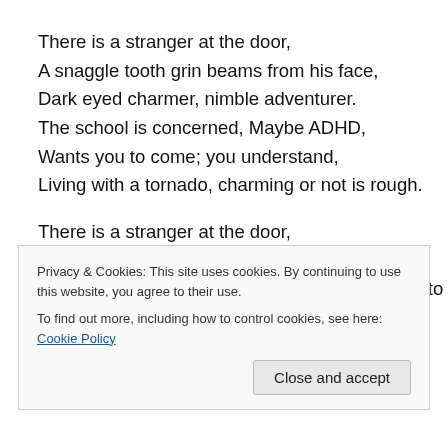There is a stranger at the door,
A snaggle tooth grin beams from his face,
Dark eyed charmer, nimble adventurer.
The school is concerned, Maybe ADHD,
Wants you to come; you understand,
Living with a tornado, charming or not is rough.

There is a stranger at the door,
Three AM and there she stands;
Wide eyed, holding back the tears, she refuses to speak.
Nine years old and seen way too much
Privacy & Cookies: This site uses cookies. By continuing to use this website, you agree to their use.
To find out more, including how to control cookies, see here: Cookie Policy